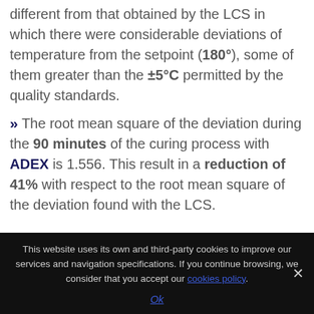different from that obtained by the LCS in which there were considerable deviations of temperature from the setpoint (180°), some of them greater than the ±5°C permitted by the quality standards.
» The root mean square of the deviation during the 90 minutes of the curing process with ADEX is 1.556. This result in a reduction of 41% with respect to the root mean square of the deviation found with the LCS.
This website uses its own and third-party cookies to improve our services and navigation specifications. If you continue browsing, we consider that you accept our cookies policy. Ok